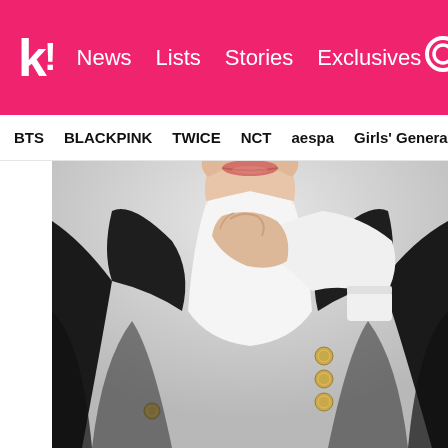k! News Lists Stories Exclusives
BTS BLACKPINK TWICE NCT aespa Girls' Generation
[Figure (photo): Close-up photo of a person (K-pop idol) wearing a black blazer with gold buttons over a white dress shirt, hand raised near their chin/neck. The lower half of their face is visible showing their lips. Background is blurred/light.]